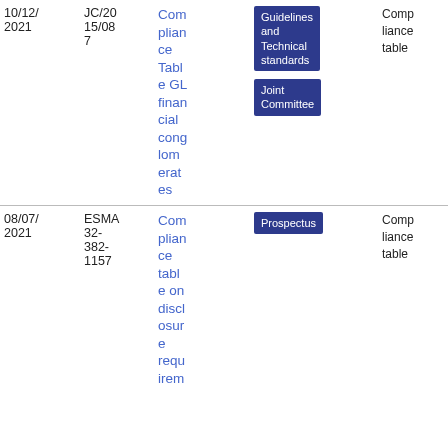| Date | Reference | Title | Tags | Type | PDF |
| --- | --- | --- | --- | --- | --- |
| 10/12/2021 | JC/2015/087 | Compliance Table GL financial conglomerates | Guidelines and Technical standards | Joint Committee | Compliance table | PDF 30 0.38 KB |
| 08/07/2021 | ESMA32-382-1157 | Compliance table on disclosure requirements | Prospectus | Compliance table | PDF 12 4.29 KB |